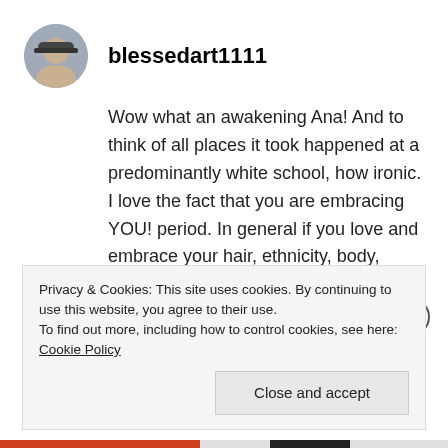[Figure (photo): Circular avatar photo of user blessedart1111, showing a person wearing a hat]
blessedart1111
Wow what an awakening Ana! And to think of all places it took happened at a predominantly white school, how ironic. I love the fact that you are embracing YOU! period. In general if you love and embrace your hair, ethnicity, body, whatever it is then love and embrace it...not that it matters but that self love and confident representation will have others drawn to love and embrace it too.
Privacy & Cookies: This site uses cookies. By continuing to use this website, you agree to their use.
To find out more, including how to control cookies, see here: Cookie Policy
Close and accept